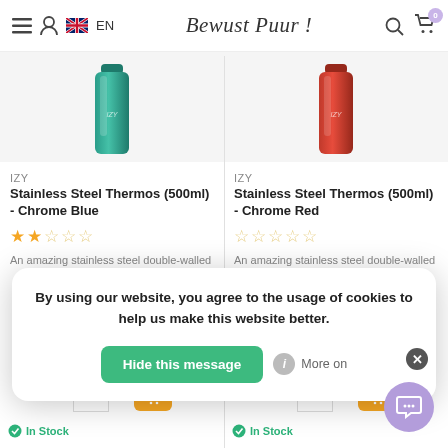Bewust Puur! EN
[Figure (photo): Teal/green stainless steel thermos bottle with IZY branding]
IZY
Stainless Steel Thermos (500ml) - Chrome Blue
2 out of 5 stars rating
An amazing stainless steel double-walled
[Figure (photo): Red stainless steel thermos bottle with IZY branding]
IZY
Stainless Steel Thermos (500ml) - Chrome Red
0 out of 5 stars rating
An amazing stainless steel double-walled
By using our website, you agree to the usage of cookies to help us make this website better.
Hide this message
More on
In Stock
In Stock